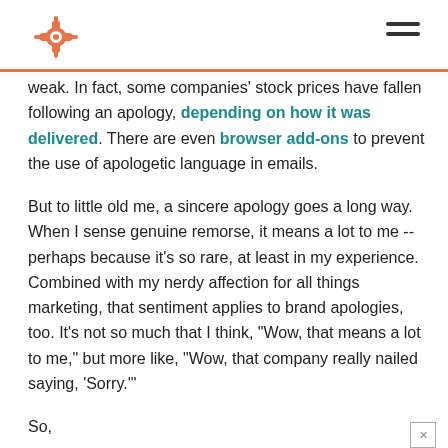HubSpot logo and navigation
weak. In fact, some companies' stock prices have fallen following an apology, depending on how it was delivered. There are even browser add-ons to prevent the use of apologetic language in emails.
But to little old me, a sincere apology goes a long way. When I sense genuine remorse, it means a lot to me -- perhaps because it's so rare, at least in my experience. Combined with my nerdy affection for all things marketing, that sentiment applies to brand apologies, too. It's not so much that I think, "Wow, that means a lot to me," but more like, "Wow, that company really nailed saying, 'Sorry.'"
So,